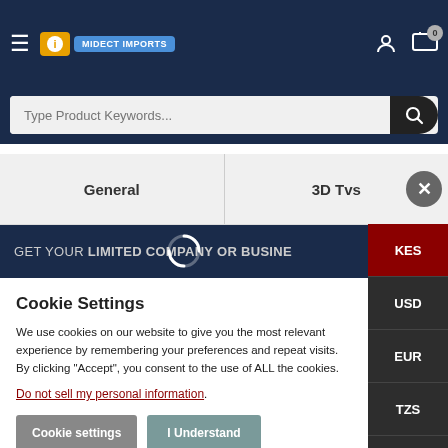Navigation header with hamburger menu, logo, search bar, user icon, and cart (0)
General | 3D Tvs
GET YOUR LIMITED COMPANY OR BUSINE...
Cookie Settings
We use cookies on our website to give you the most relevant experience by remembering your preferences and repeat visits. By clicking "Accept", you consent to the use of ALL the cookies.
Do not sell my personal information.
Cookie settings | I Understand
KES
USD
EUR
TZS
UGX
RWF